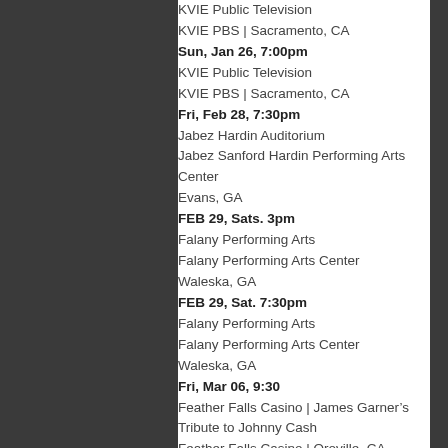KVIE Public Television
KVIE PBS | Sacramento, CA
Sun, Jan 26, 7:00pm
KVIE Public Television
KVIE PBS | Sacramento, CA
Fri, Feb 28, 7:30pm
Jabez Hardin Auditorium
Jabez Sanford Hardin Performing Arts Center
Evans, GA
FEB 29, Sats. 3pm
Falany Performing Arts
Falany Performing Arts Center
Waleska, GA
FEB 29, Sat. 7:30pm
Falany Performing Arts
Falany Performing Arts Center
Waleska, GA
Fri, Mar 06, 9:30
Feather Falls Casino | James Garner’s Tribute to Johnny Cash
Feather Falls Casino | Oroville, CA
Fri, Mar 13, 8:00pm